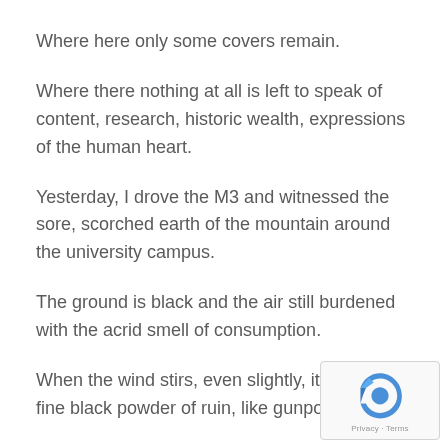Where here only some covers remain.
Where there nothing at all is left to speak of content, research, historic wealth, expressions of the human heart.
Yesterday, I drove the M3 and witnessed the sore, scorched earth of the mountain around the university campus.
The ground is black and the air still burdened with the acrid smell of consumption.
When the wind stirs, even slightly, it carries the fine black powder of ruin, like gunpowder.